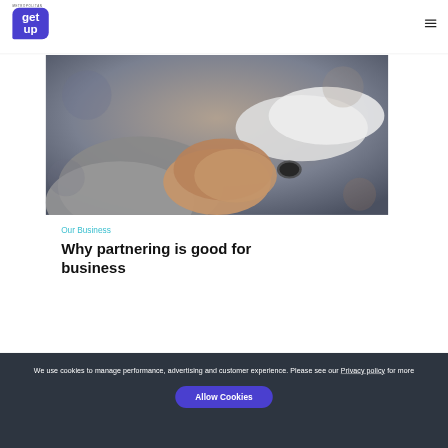METROPOLITAN get up
[Figure (photo): Close-up photo of two people shaking hands, one wearing a grey jacket and the other a white shirt with a watch]
Our Business
Why partnering is good for business
We use cookies to manage performance, advertising and customer experience. Please see our Privacy policy for more
Allow Cookies